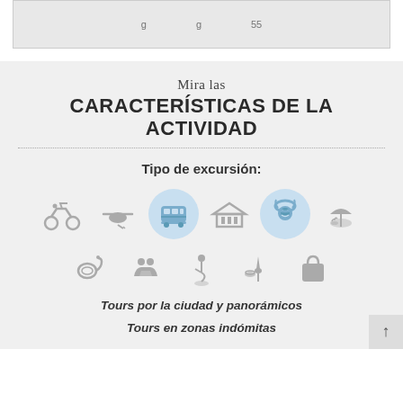Mira las CARACTERÍSTICAS DE LA ACTIVIDAD
Tipo de excursión:
[Figure (infographic): Row of activity type icons: motorbike/adventure (plain), helicopter (plain), bus (highlighted in blue circle), museum/building (plain), lion/wildlife (highlighted in blue circle), beach umbrella (plain). Second row: snorkel mask, family/kids, golf, food and wine, shopping bag icons (all plain gray).]
Tours por la ciudad y panorámicos
Tours en zonas indómitas